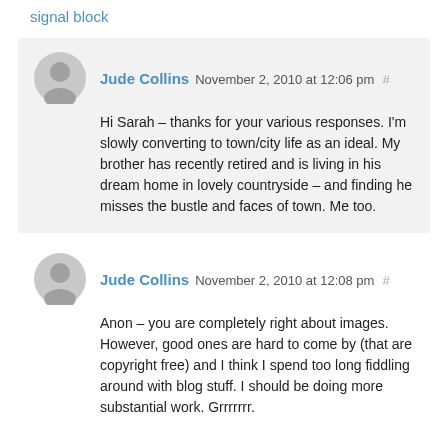signal block
Jude Collins November 2, 2010 at 12:06 pm #
Hi Sarah – thanks for your various responses. I'm slowly converting to town/city life as an ideal. My brother has recently retired and is living in his dream home in lovely countryside – and finding he misses the bustle and faces of town. Me too.
Jude Collins November 2, 2010 at 12:08 pm #
Anon – you are completely right about images. However, good ones are hard to come by (that are copyright free) and I think I spend too long fiddling around with blog stuff. I should be doing more substantial work. Grrrrrrr.